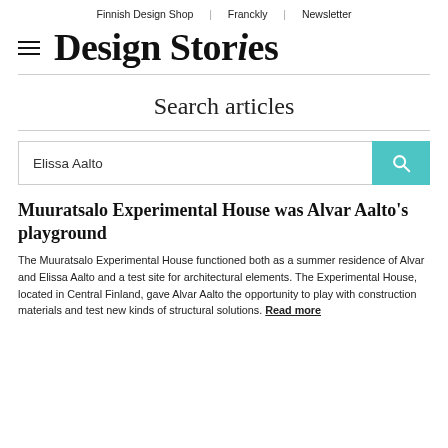Finnish Design Shop | Franckly | Newsletter
Design Stories
Search articles
Elissa Aalto
Muuratsalo Experimental House was Alvar Aalto's playground
The Muuratsalo Experimental House functioned both as a summer residence of Alvar and Elissa Aalto and a test site for architectural elements. The Experimental House, located in Central Finland, gave Alvar Aalto the opportunity to play with construction materials and test new kinds of structural solutions. Read more